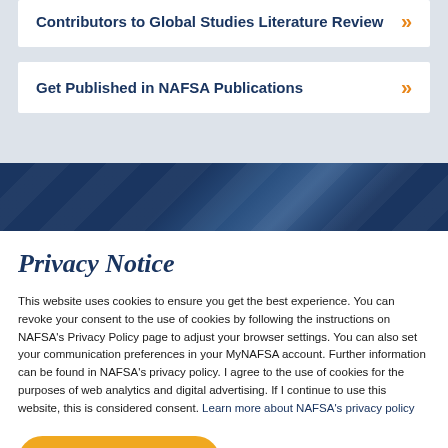Contributors to Global Studies Literature Review
Get Published in NAFSA Publications
Privacy Notice
This website uses cookies to ensure you get the best experience. You can revoke your consent to the use of cookies by following the instructions on NAFSA's Privacy Policy page to adjust your browser settings. You can also set your communication preferences in your MyNAFSA account. Further information can be found in NAFSA's privacy policy. I agree to the use of cookies for the purposes of web analytics and digital advertising. If I continue to use this website, this is considered consent. Learn more about NAFSA's privacy policy
I Consent